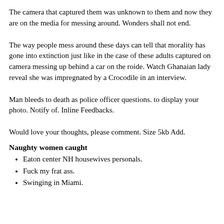The camera that captured them was unknown to them and now they are on the media for messing around. Wonders shall not end.
The way people mess around these days can tell that morality has gone into extinction just like in the case of these adults captured on camera messing up behind a car on the roide. Watch Ghanaian lady reveal she was impregnated by a Crocodile in an interview.
Man bleeds to death as police officer questions. to display your photo. Notify of. Inline Feedbacks.
Would love your thoughts, please comment. Size 5kb Add.
Naughty women caught
Eaton center NH housewives personals.
Fuck my frat ass.
Swinging in Miami.